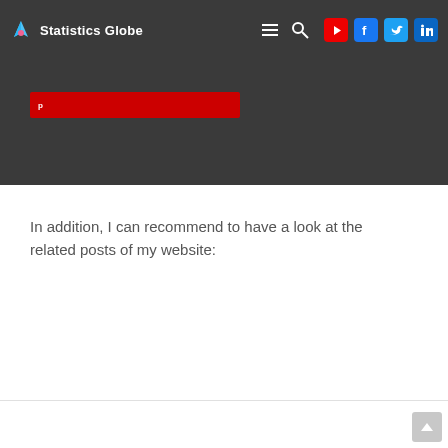Statistics Globe
[Figure (screenshot): Dark navigation bar with Statistics Globe logo, hamburger menu, search icon, and social media icons (YouTube, Facebook, Twitter, LinkedIn). Below it a dark background area with a red button/bar.]
In addition, I can recommend to have a look at the related posts of my website: